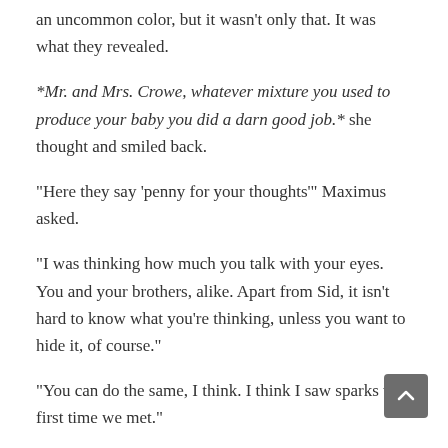an uncommon color, but it wasn't only that. It was what they revealed.
*Mr. and Mrs. Crowe, whatever mixture you used to produce your baby you did a darn good job.* she thought and smiled back.
“Here they say ‘penny for your thoughts’” Maximus asked.
“I was thinking how much you talk with your eyes. You and your brothers, alike. Apart from Sid, it isn’t hard to know what you’re thinking, unless you want to hide it, of course.”
“You can do the same, I think. I think I saw sparks the first time we met.”
“Expressive eyes make up for the fact that they’re neither blue, green or big. My eyes are brown, with brown sparks and brown light. Like a strong coffee.”